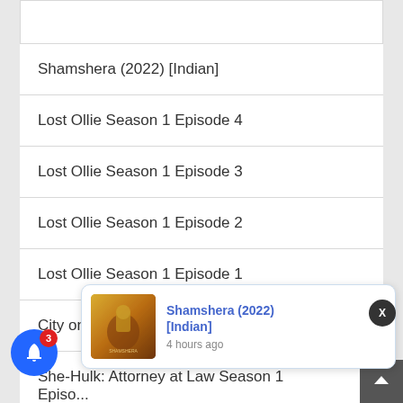Shamshera (2022) [Indian]
Lost Ollie Season 1 Episode 4
Lost Ollie Season 1 Episode 3
Lost Ollie Season 1 Episode 2
Lost Ollie Season 1 Episode 1
City on a Hill Season 3 Episode 4
She-Hulk: Attorney at Law Season 1 Episode...
[Figure (screenshot): Notification popup showing Shamshera (2022) [Indian] with movie poster thumbnail and timestamp '4 hours ago']